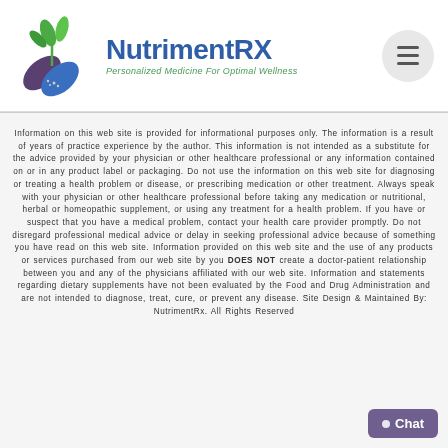[Figure (logo): NutrimentRX logo with pill and plant graphic, tagline: Personalized Medicine For Optimal Wellness]
Information on this web site is provided for informational purposes only. The information is a result of years of practice experience by the author. This information is not intended as a substitute for the advice provided by your physician or other healthcare professional or any information contained on or in any product label or packaging. Do not use the information on this web site for diagnosing or treating a health problem or disease, or prescribing medication or other treatment. Always speak with your physician or other healthcare professional before taking any medication or nutritional, herbal or homeopathic supplement, or using any treatment for a health problem. If you have or suspect that you have a medical problem, contact your health care provider promptly. Do not disregard professional medical advice or delay in seeking professional advice because of something you have read on this web site. Information provided on this web site and the use of any products or services purchased from our web site by you DOES NOT create a doctor-patient relationship between you and any of the physicians affiliated with our web site. Information and statements regarding dietary supplements have not been evaluated by the Food and Drug Administration and are not intended to diagnose, treat, cure, or prevent any disease. Site Design & Maintained By: NutrimentRx. All Rights Reserved